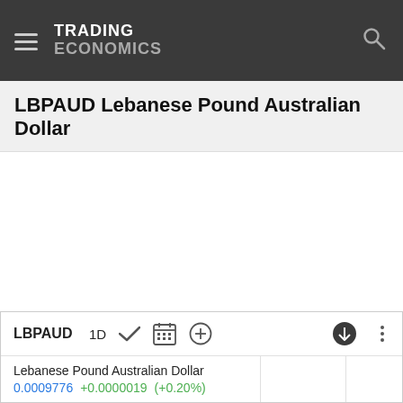TRADING ECONOMICS
LBPAUD Lebanese Pound Australian Dollar
[Figure (other): Empty chart area for LBPAUD Lebanese Pound Australian Dollar exchange rate]
LBPAUD 1D
Lebanese Pound Australian Dollar 0.0009776 +0.0000019 (+0.20%)